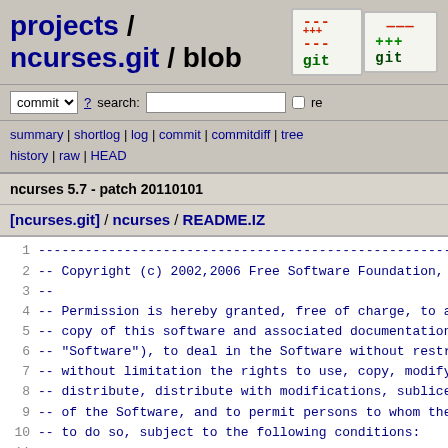projects / ncurses.git / blob
commit ? search: re
summary | shortlog | log | commit | commitdiff | tree history | raw | HEAD
ncurses 5.7 - patch 20110101
[ncurses.git] / ncurses / README.IZ
1  ------------------------------------------------------------------
2  -- Copyright (c) 2002,2006 Free Software Foundation, In
3  --
4  -- Permission is hereby granted, free of charge, to any
5  -- copy of this software and associated documentation f
6  -- "Software"), to deal in the Software without restric
7  -- without limitation the rights to use, copy, modify,
8  -- distribute, distribute with modifications, sublicens
9  -- of the Software, and to permit persons to whom the S
10 -- to do so, subject to the following conditions:
11 --
12 -- The above copyright notice and this permission notic
13 -- in all copies or substantial portions of the Softwar
14 --
15 -- THE SOFTWARE IS PROVIDED "AS IS", WITHOUT WARRANTY O
16 -- OR IMPLIED, INCLUDING BUT NOT LIMITED TO THE WARRANT
17 -- MERCHANTABILITY, FITNESS FOR A PARTICULAR PURPOSE AN
18 -- NO EVENT SHALL THE ABOVE COPYRIGHT HOLDERS BE LIABLE
19 -- DAMAGES OR OTHER LIABILITY, WHETHER IN AN ACTION OF